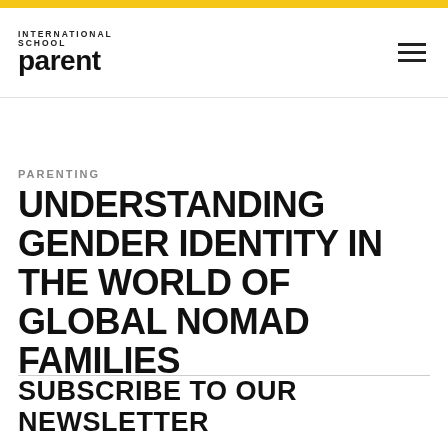INTERNATIONAL SCHOOL parent
PARENTING
UNDERSTANDING GENDER IDENTITY IN THE WORLD OF GLOBAL NOMAD FAMILIES
SUBSCRIBE TO OUR NEWSLETTER